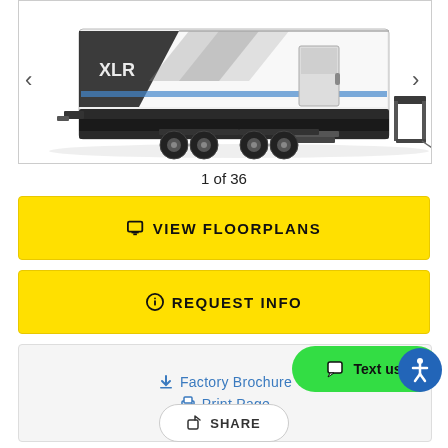[Figure (photo): Side view of an XLR toy hauler / fifth wheel RV trailer with white and dark gray exterior, dual axles, side entry steps, and ramp/patio area on right side. Navigation arrows on left and right edges.]
1 of 36
🖥 VIEW FLOORPLANS
ℹ REQUEST INFO
⬇ Factory Brochure
🖨 Print Page
↗ SHARE